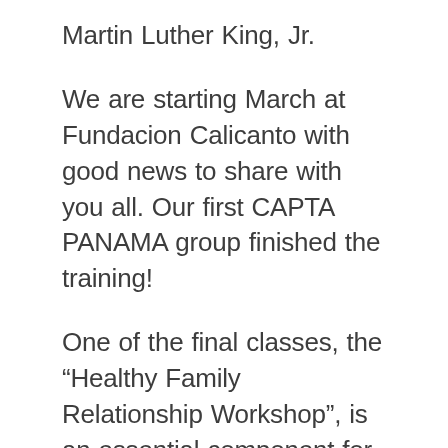Martin Luther King, Jr.
We are starting March at Fundacion Calicanto with good news to share with you all. Our first CAPTA PANAMA group finished the training!
One of the final classes, the “Healthy Family Relationship Workshop”, is an essential component for women’s commitment to help themselves and include all the family members in their transformation, connecting one another in a safe and respectful way. This